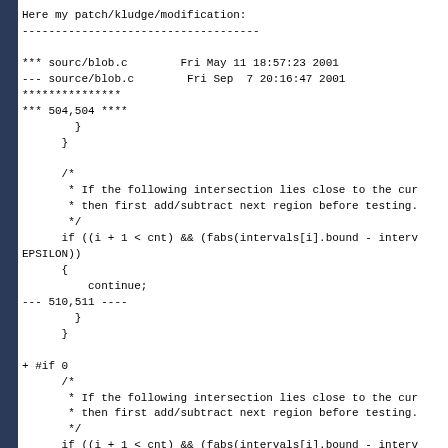Here my patch/kludge/modification:
------------------------------------

*** sourc/blob.c        Fri May 11 18:57:23 2001
--- source/blob.c        Fri Sep  7 20:16:47 2001
***************
*** 504,504 ****
        }
      }

      /*
       * If the following intersection lies close to the cur
       * then first add/subtract next region before testing.
       */
      if ((i + 1 < cnt) && (fabs(intervals[i].bound - interv
EPSILON))
      {
          continue;
--- 510,511 ----
        }
      }

+ #if 0
      /*
       * If the following intersection lies close to the cur
       * then first add/subtract next region before testing.
       */
      if ((i + 1 < cnt) && (fabs(intervals[i].bound - interv
EPSILON))
      {
          hi